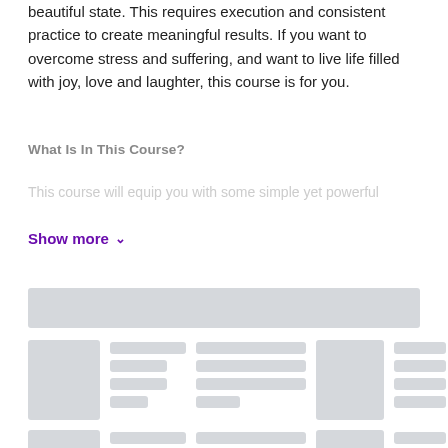beautiful state. This requires execution and consistent practice to create meaningful results. If you want to overcome stress and suffering, and want to live life filled with joy, love and laughter, this course is for you.
What Is In This Course?
This course will equip you with some simple yet powerful
Show more
[Figure (screenshot): Skeleton loading placeholder UI showing a wide gray bar at top followed by two rows of card-style placeholders, each with a thumbnail block and several gray text-line placeholders of varying widths]